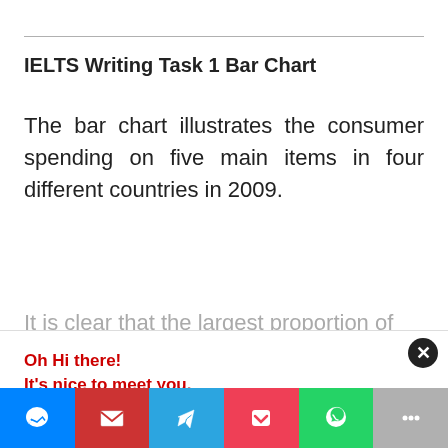IELTS Writing Task 1 Bar Chart
The bar chart illustrates the consumer spending on five main items in four different countries in 2009.
It is clear that the largest proportion of
Oh Hi there!
It's nice to meet you.

Sign up to receive awesome content in your inbox, every week.